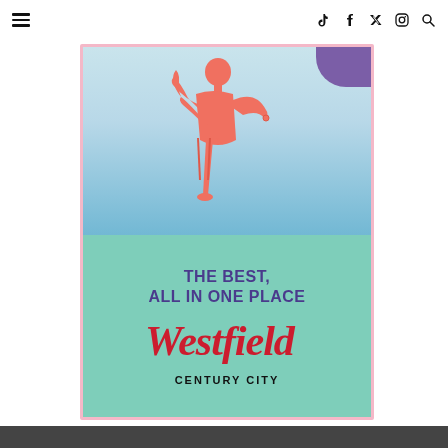Navigation header with hamburger menu and social icons (TikTok, Facebook, Twitter, Instagram, Search)
[Figure (illustration): Westfield Century City advertisement. Top half shows a woman in coral/salmon yoga attire performing a dancer pose (Natarajasana) against a light blue sky background, with a purple badge in the top-right corner. Bottom half is a mint/teal green background with the text 'THE BEST, ALL IN ONE PLACE' in purple bold uppercase letters, followed by the Westfield logo in red italic script and 'CENTURY CITY' in black bold uppercase letters below.]